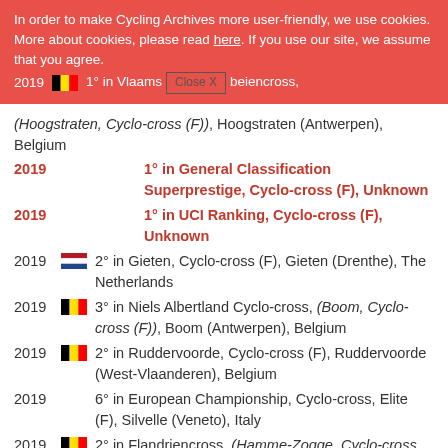In order to make Cycling Archives more user-friendly, we use cookies. More about cookies, please read here. If you use our site, we assume that you agree. [Close X button] 2019 [BE] 1° in Vlaams... beiencross,
(Hoogstraten, Cyclo-cross (F)), Hoogstraten (Antwerpen), Belgium
2019  1° in General Classification Superprestige, Cyclo-cross (F), Unknown
2019  1° in UCI Ranking, Cyclo-cross (F), Unknown
2019 [NL] 2° in Gieten, Cyclo-cross (F), Gieten (Drenthe), The Netherlands
2019 [BE] 3° in Niels Albertland Cyclo-cross, (Boom, Cyclo-cross (F)), Boom (Antwerpen), Belgium
2019 [BE] 2° in Ruddervoorde, Cyclo-cross (F), Ruddervoorde (West-Vlaanderen), Belgium
2019  6° in European Championship, Cyclo-cross, Elite (F), Silvelle (Veneto), Italy
2019 [BE] 2° in Flandriencross, (Hamme-Zogge, Cyclo-cross (F)), Hamme-Zogge (Oost-Vlaanderen), Belgium
2019 [BE] 2° in Ambiancecross, (Wachtebeke, Cyclo-cross (F)), Wachtebeke (Oost-Vlaanderen), Belgium